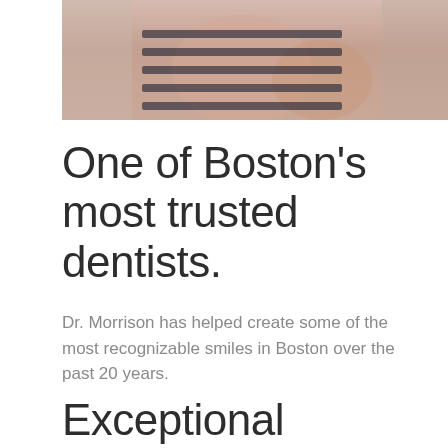[Figure (photo): Photo of a person wearing a striped shirt, partially cropped, showing torso and arms]
One of Boston's most trusted dentists.
Dr. Morrison has helped create some of the most recognizable smiles in Boston over the past 20 years.
Exceptional dental care in a